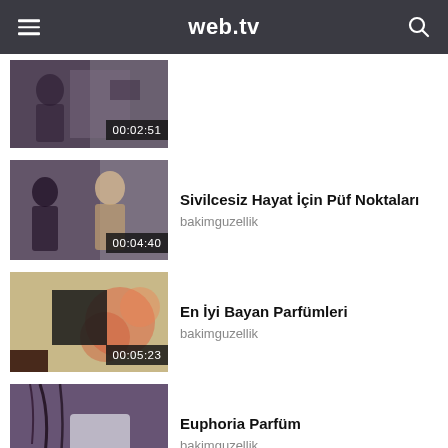web.tv
[Figure (screenshot): Video thumbnail with timestamp 00:02:51, two people visible]
[Figure (screenshot): Video thumbnail with timestamp 00:04:40, two people at a table]
Sivilcesiz Hayat İçin Püf Noktaları
bakimguzellik
[Figure (screenshot): Video thumbnail with timestamp 00:05:23, blurred flowers/objects]
En İyi Bayan Parfümleri
bakimguzellik
[Figure (screenshot): Video thumbnail with timestamp 00:00:30, person with hair visible]
Euphoria Parfüm
bakimguzellik
© 2020 Web.tv, All rights reserved.